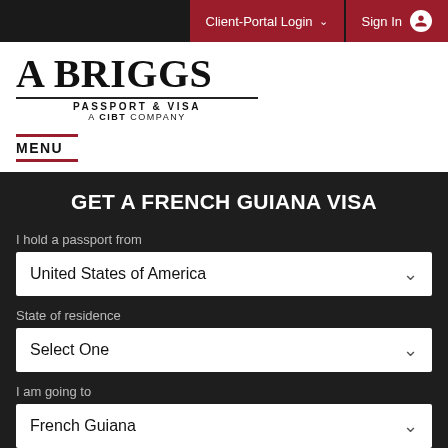Client-Portal Login  Sign In
[Figure (logo): A Briggs Passport & Visa - A CIBT Company logo]
MENU
GET A FRENCH GUIANA VISA
I hold a passport from
United States of America
State of residence
Select One
I am going to
French Guiana
My purpose of trip is